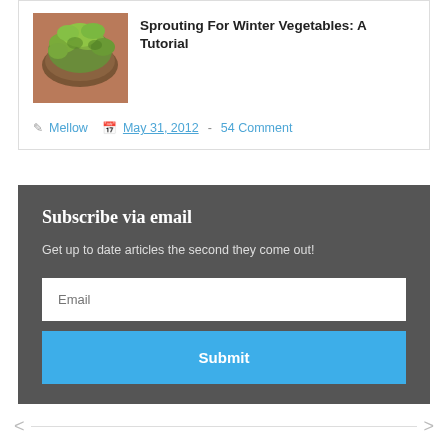[Figure (photo): Thumbnail photo of sprouts growing in a bowl/pot, viewed from above, showing green sprouts on brown soil.]
Sprouting For Winter Vegetables: A Tutorial
Mellow  May 31, 2012  -  54 Comment
Subscribe via email
Get up to date articles the second they come out!
Email
Submit